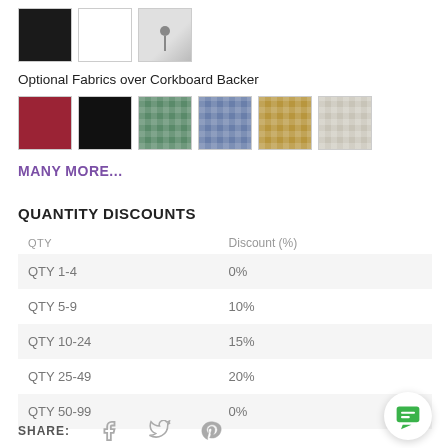[Figure (illustration): Three color swatches: black, white, and light grey with pin]
Optional Fabrics over Corkboard Backer
[Figure (illustration): Six fabric swatches: dark red/burgundy, black, green mosaic, blue mosaic, gold mosaic, light grey mosaic]
MANY MORE...
QUANTITY DISCOUNTS
| QTY | Discount (%) |
| --- | --- |
| QTY 1-4 | 0% |
| QTY 5-9 | 10% |
| QTY 10-24 | 15% |
| QTY 25-49 | 20% |
| QTY 50-99 | 0% |
SHARE: